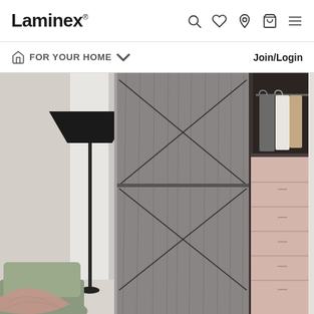Laminex
FOR YOUR HOME
Join/Login
[Figure (photo): Interior bedroom scene showing a modern wardrobe with grey wood-grain laminate sliding doors featuring curved line inlays, pink blush drawer unit on the right, open section with hanging clothes, a black floor lamp on the left, and a sage green armchair with a pink throw blanket in the foreground.]